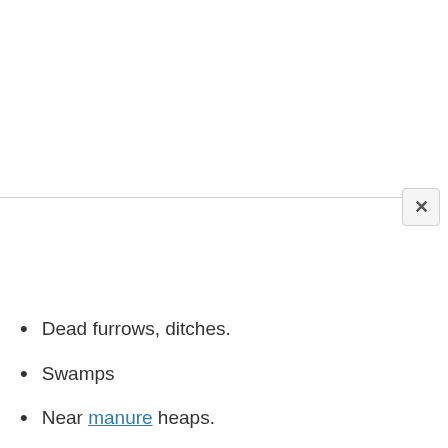Dead furrows, ditches.
Swamps
Near manure heaps.
Recently fertilized fields
Ant hills